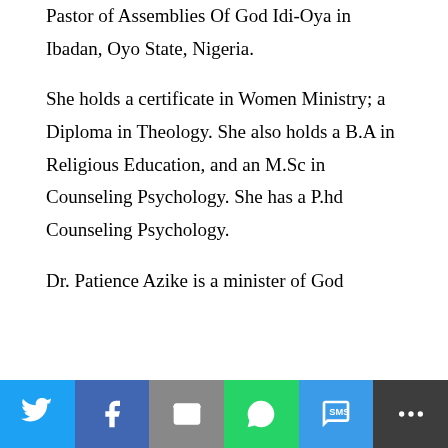and is planning, she is the Senior Pastor of Assemblies Of God Idi-Oya in Ibadan, Oyo State, Nigeria.

She holds a certificate in Women Ministry; a Diploma in Theology. She also holds a B.A in Religious Education, and an M.Sc in Counseling Psychology. She has a P.hd Counseling Psychology.

Dr. Patience Azike is a minister of God